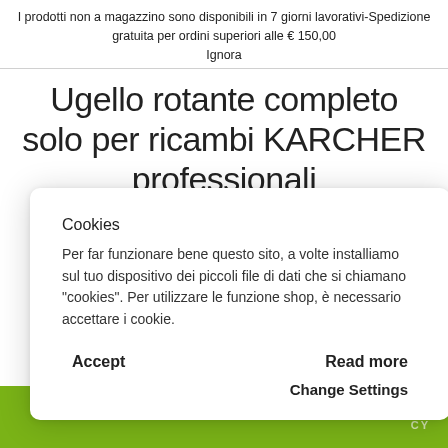I prodotti non a magazzino sono disponibili in 7 giorni lavorativi-Spedizione gratuita per ordini superiori alle € 150,00
Ignora
Ugello rotante completo solo per ricambi KARCHER professionali
Cookies
Per far funzionare bene questo sito, a volte installiamo sul tuo dispositivo dei piccoli file di dati che si chiamano 'cookies'. Per utilizzare le funzione shop, è necessario accettare i cookie.
Accept
Read more
Change Settings
TATTI
CY